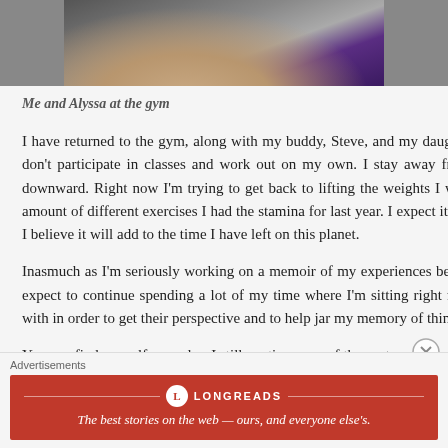[Figure (photo): Cropped photo showing a person's midsection/arm at a gym, with purple workout clothing visible]
Me and Alyssa at the gym
I have returned to the gym, along with my buddy, Steve, and my daughter. I don't wear a mask when I'm there and neither does anyone else. I don't participate in classes and work out on my own. I stay away from others and the gym has several overhead fans which move the air downward. Right now I'm trying to get back to lifting the weights I was working out with before everything shut down, as well as doing the amount of different exercises I had the stamina for last year. I expect it will take a bit longer at my age than it would have, say, 20 years ago, but I believe it will add to the time I have left on this planet.
Inasmuch as I'm seriously working on a memoir of my experiences becoming a first-time father five years after AARP got me in their sights, I expect to continue spending a lot of my time where I'm sitting right now. I've begun communicating with friends we traveled and spent time with in order to get their perspective and to help jar my memory of things in which we all participated.
You can find my self … and as I still continue one of the past…
Advertisements
[Figure (logo): Longreads advertisement banner — red background with Longreads logo and tagline 'The best stories on the web — ours, and everyone else's.']